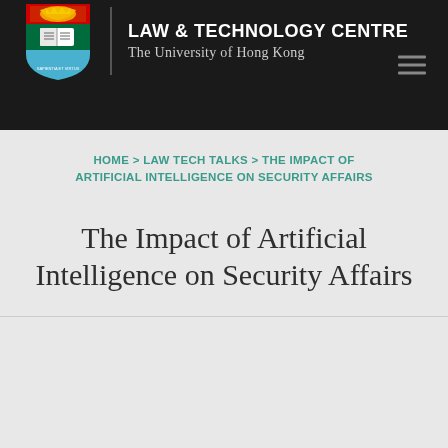LAW & TECHNOLOGY CENTRE The University of Hong Kong
HOME > LAW TECH TALKS > THE IMPACT OF ARTIFICIAL INTELLIGENCE ON SECURITY AFFAIRS
The Impact of Artificial Intelligence on Security Affairs